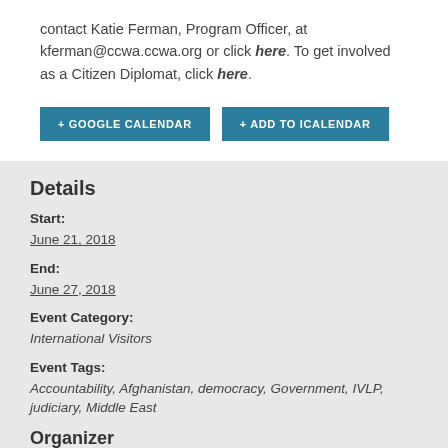contact Katie Ferman, Program Officer, at kferman@ccwa.ccwa.org or click here. To get involved as a Citizen Diplomat, click here.
+ GOOGLE CALENDAR  + ADD TO ICALENDAR
Details
Start:
June 21, 2018
End:
June 27, 2018
Event Category:
International Visitors
Event Tags:
Accountability, Afghanistan, democracy, Government, IVLP, judiciary, Middle East
Organizer